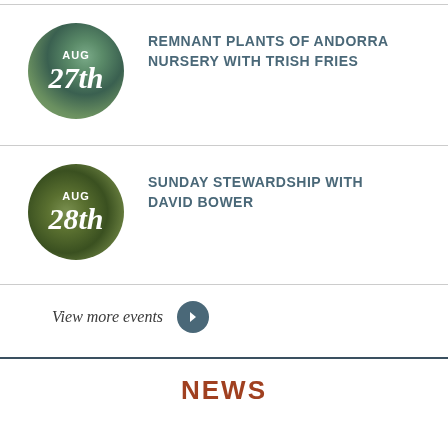[Figure (illustration): Circular badge with nature/tree background, showing 'AUG 27th']
REMNANT PLANTS OF ANDORRA NURSERY WITH TRISH FRIES
[Figure (illustration): Circular badge with forest/person background, showing 'AUG 28th']
SUNDAY STEWARDSHIP WITH DAVID BOWER
View more events
NEWS